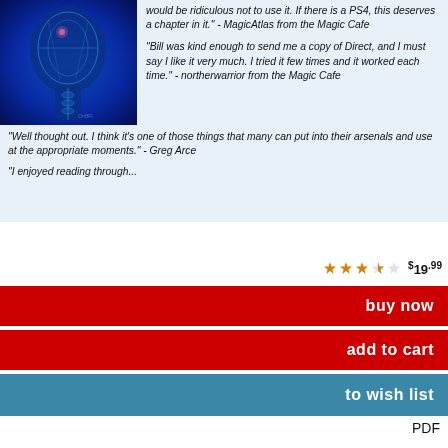[Figure (illustration): Blue glowing brain/head X-ray style illustration on dark blue background]
would be ridiculous not to use it. If there is a PS4, this deserves a chapter in it." - MagicAtlas from the Magic Cafe
"Bill was kind enough to send me a copy of Direct, and I must say I like it very much. I tried it few times and it worked each time." - northerwarrior from the Magic Cafe
"Well thought out. I think it's one of those things that many can put into their arsenals and use at the appropriate moments." - Greg Arce
"I enjoyed reading through...
$19.99
buy now
add to cart
to wish list
PDF